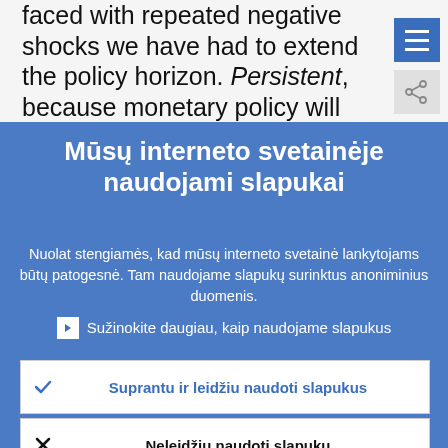faced with repeated negative shocks we have had to extend the policy horizon. Persistent, because monetary policy will remain sufficiently accommodative to
Mūsų interneto svetainėje naudojami slapukai
Nuolat stengiamės, kad mūsų interneto svetainė lankytojams būtų patogesnė. Tam naudojame slapukų surinktus anoniminius duomenis.
Sužinokite daugiau, kaip naudojame slapukus
Suprantu ir leidžiu naudoti slapukus
Neleidžiu naudoti slapukų